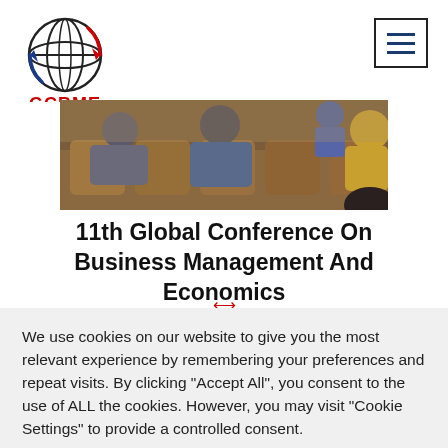[Figure (logo): GCBME globe logo with red and blue arrows and text 'GCBME' in red]
[Figure (photo): Conference audience seated in chairs, viewed from behind, people in casual attire]
11th Global Conference On Business Management And Economics
We use cookies on our website to give you the most relevant experience by remembering your preferences and repeat visits. By clicking "Accept All", you consent to the use of ALL the cookies. However, you may visit "Cookie Settings" to provide a controlled consent.
Cookie Settings | Accept All